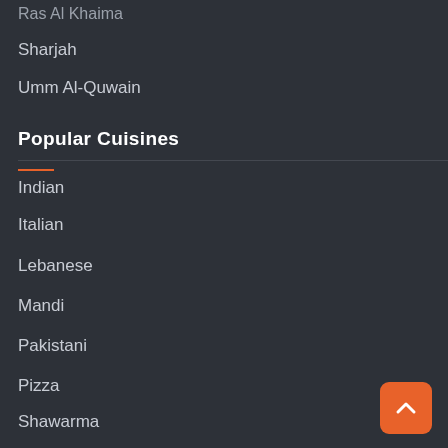Ras Al Khaima
Sharjah
Umm Al-Quwain
Popular Cuisines
Indian
Italian
Lebanese
Mandi
Pakistani
Pizza
Shawarma
Menu